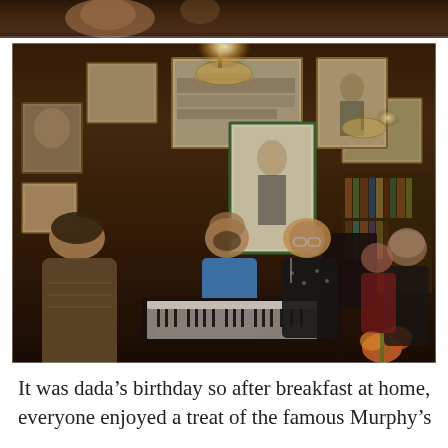[Figure (photo): Top strip of a photo showing people in a dimly lit bar/pub setting with warm brown tones — partial view of people's shoulders and heads]
[Figure (photo): Indoor photo of people gathered in an eclectic bar or bookshop covered in framed artwork and paintings on the walls. A person in a blue shirt plays piano in the center, a blonde woman sings on the right, other people are visible in background. Warm amber lighting with a glowing lamp overhead. Bookshelves and artwork decorate every wall.]
It was dada's birthday so after breakfast at home, everyone enjoyed a treat of the famous Murphy's